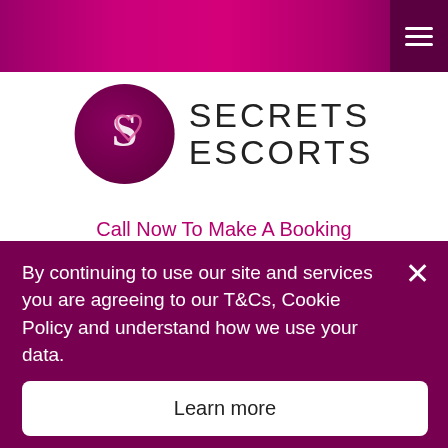Secrets Escorts – top navigation bar with hamburger menu
[Figure (logo): Secrets Escorts circular logo with stylized S and heart, alongside brand name SECRETS ESCORTS in dark letters]
Call Now To Make A Booking
0161 798 6769
Home > News > MANCHESTER'S FITTEST MODEL ESCORTS!
MANCHESTER'S FITTEST
By continuing to use our site and services you are agreeing to our T&Cs, Cookie Policy and understand how we use your data.
Learn more